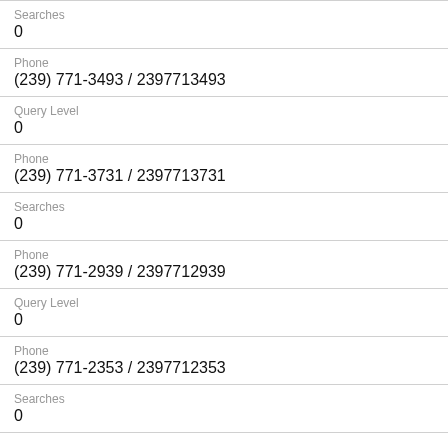Searches
0
Phone
(239) 771-3493 / 2397713493
Query Level
0
Phone
(239) 771-3731 / 2397713731
Searches
0
Phone
(239) 771-2939 / 2397712939
Query Level
0
Phone
(239) 771-2353 / 2397712353
Searches
0